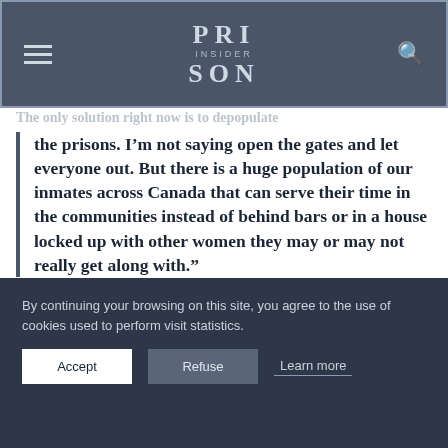PRISON INSIDER
the only solution right now is to depopulate the prisons.
the prisons. I’m not saying open the gates and let everyone out. But there is a huge population of our inmates across Canada that can serve their time in the communities instead of behind bars or in a house locked up with other women they may or may not really get along with.”
Prison depopulation has been tried in Canada before. Between 1993 and 1997 Alberta decreased its incarnation rate
By continuing your browsing on this site, you agree to the use of cookies used to perform visit statistics.